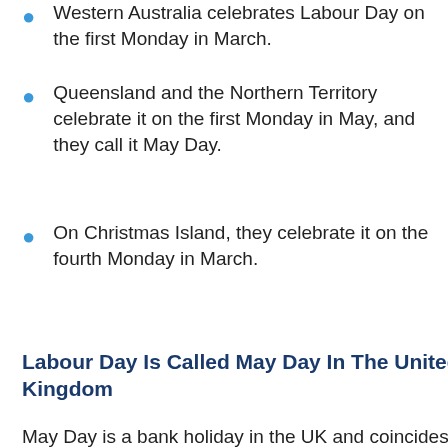Western Australia celebrates Labour Day on the first Monday in March.
Queensland and the Northern Territory celebrate it on the first Monday in May, and they call it May Day.
On Christmas Island, they celebrate it on the fourth Monday in March.
Labour Day Is Called May Day In The United Kingdom
May Day is a bank holiday in the UK and coincides with Labour Day. It's also known as Labour Day.  It's commemorated on the first day of May each year.
May Day goes as far back as the Gaelic festival Beltane.  In Britain, communities celebrate May Day